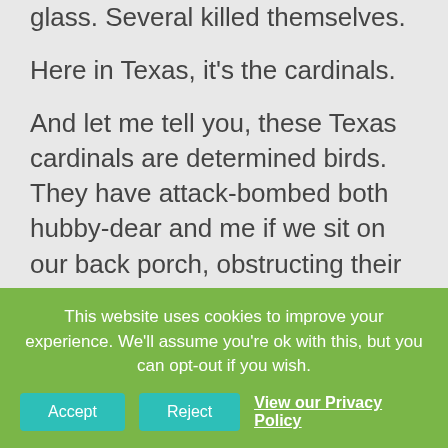glass. Several killed themselves.
Here in Texas, it's the cardinals.
And let me tell you, these Texas cardinals are determined birds. They have attack-bombed both hubby-dear and me if we sit on our back porch, obstructing their path.
Having tried all the Google-suggested ways to get rid of the persistent birds when we lived in
This website uses cookies to improve your experience. We'll assume you're ok with this, but you can opt-out if you wish. Accept Reject View our Privacy Policy